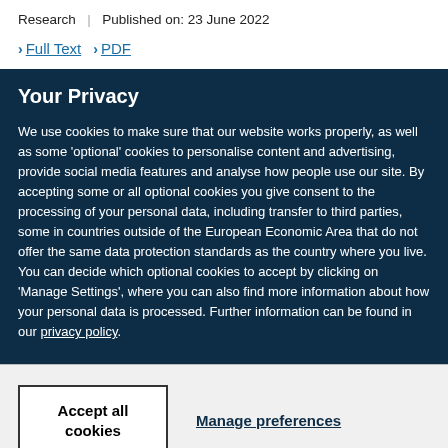Research | Published on: 23 June 2022
> Full Text  > PDF
Your Privacy
We use cookies to make sure that our website works properly, as well as some 'optional' cookies to personalise content and advertising, provide social media features and analyse how people use our site. By accepting some or all optional cookies you give consent to the processing of your personal data, including transfer to third parties, some in countries outside of the European Economic Area that do not offer the same data protection standards as the country where you live. You can decide which optional cookies to accept by clicking on 'Manage Settings', where you can also find more information about how your personal data is processed. Further information can be found in our privacy policy.
Accept all cookies
Manage preferences